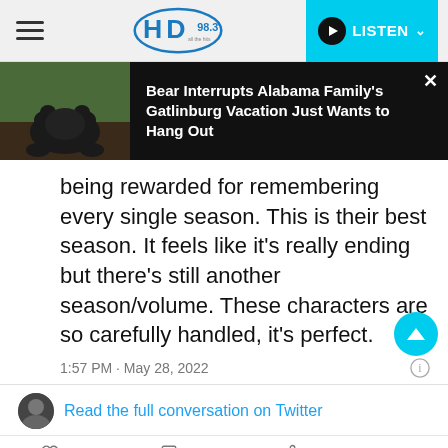HD 98.3 — LISTEN
[Figure (screenshot): Bear Interrupts Alabama Family's Gatlinburg Vacation Just Wants to Hang Out — news banner with bear photo]
being rewarded for remembering every single season. This is their best season. It feels like it's really ending but there's still another season/volume. These characters are so carefully handled, it's perfect.
1:57 PM · May 28, 2022
Read the full conversation on Twitter
19.9K   Reply   Copy link to Tweet